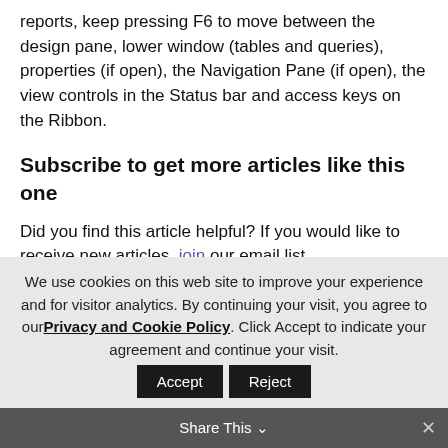reports, keep pressing F6 to move between the design pane, lower window (tables and queries), properties (if open), the Navigation Pane (if open), the view controls in the Status bar and access keys on the Ribbon.
Subscribe to get more articles like this one
Did you find this article helpful? If you would like to receive new articles, join our email list.
We use cookies on this web site to improve your experience and for visitor analytics. By continuing your visit, you agree to our Privacy and Cookie Policy. Click Accept to indicate your agreement and continue your visit.